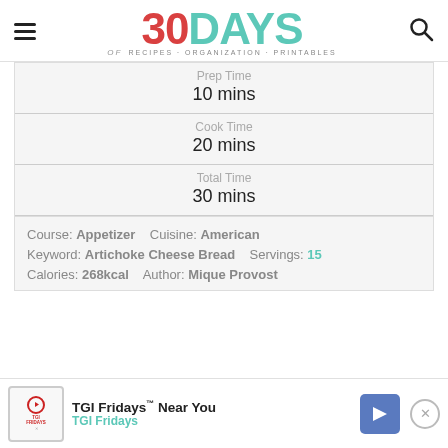[Figure (logo): 30 DAYS of Recipes Organization Printables logo with hamburger menu and search icon]
| Prep Time | 10 mins |
| Cook Time | 20 mins |
| Total Time | 30 mins |
Course: Appetizer   Cuisine: American   Keyword: Artichoke Cheese Bread   Servings: 15   Calories: 268kcal   Author: Mique Provost
[Figure (screenshot): TGI Fridays advertisement banner: TGI Fridays Near You, TGI Fridays with play button and navigation arrow]